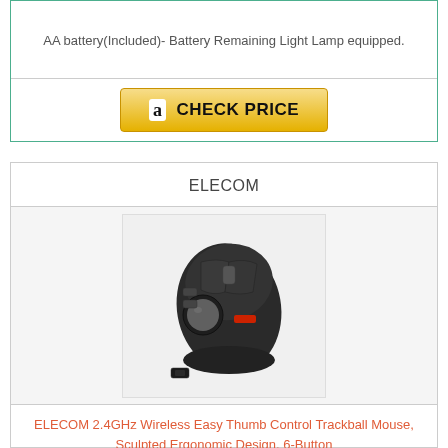AA battery(Included)- Battery Remaining Light Lamp equipped.
[Figure (other): Amazon Check Price button with Amazon logo]
ELECOM
[Figure (photo): ELECOM trackball mouse product photo with USB receiver]
ELECOM 2.4GHz Wireless Easy Thumb Control Trackball Mouse, Sculpted Ergonomic Design, 6-Button